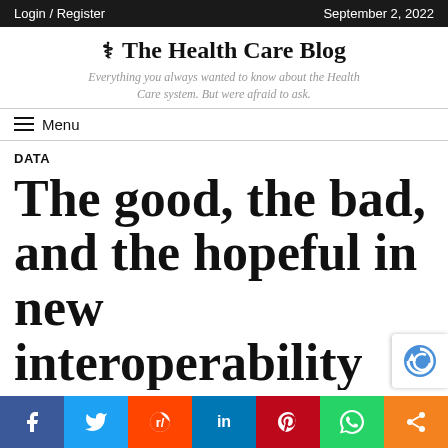Login / Register | September 2, 2022
The Health Care Blog
Everything you always wanted to know about the Health Care system. But were afraid to ask.
≡ Menu
DATA
The good, the bad, and the hopeful in new interoperability